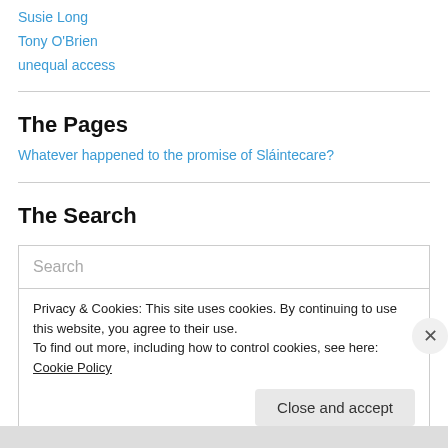Susie Long
Tony O'Brien
unequal access
The Pages
Whatever happened to the promise of Sláintecare?
The Search
Search
Privacy & Cookies: This site uses cookies. By continuing to use this website, you agree to their use.
To find out more, including how to control cookies, see here: Cookie Policy
Close and accept